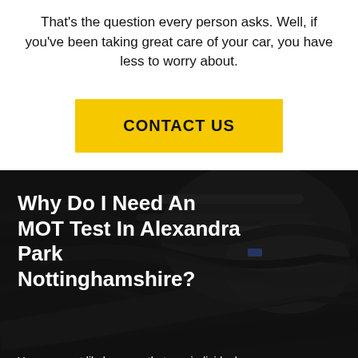That's the question every person asks. Well, if you've been taking great care of your car, you have less to worry about.
[Figure (other): Yellow rectangular button with bold uppercase text 'CONTACT US']
[Figure (photo): Dark photograph of a car engine bay overlaid with semi-transparent dark filter]
Why Do I Need An MOT Test In Alexandra Park Nottinghamshire?
You are most likely aware that any individual